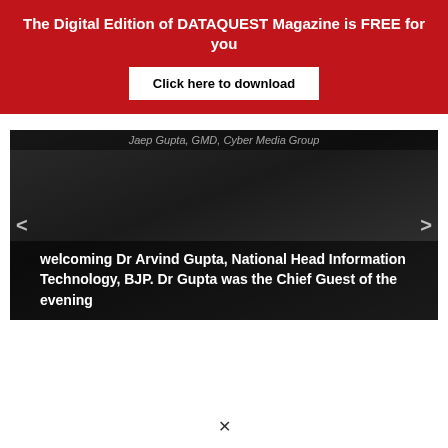The Digital Edition of DATAQUEST Magazine is FREE for you
Click here to download
[Figure (photo): Dark photograph of people at an event, with navigation arrows and caption overlay. Caption reads: welcoming Dr Arvind Gupta, National Head Information Technology, BJP. Dr Gupta was the Chief Guest of the evening]
×